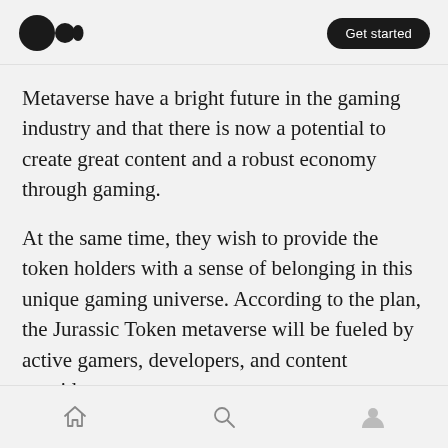Medium logo | Get started
Metaverse have a bright future in the gaming industry and that there is now a potential to create great content and a robust economy through gaming.
At the same time, they wish to provide the token holders with a sense of belonging in this unique gaming universe. According to the plan, the Jurassic Token metaverse will be fueled by active gamers, developers, and content providers.
How to buy Jurassic Token ($JRSC)?
No matter what people say, it's easy to buy
Home | Search | Profile